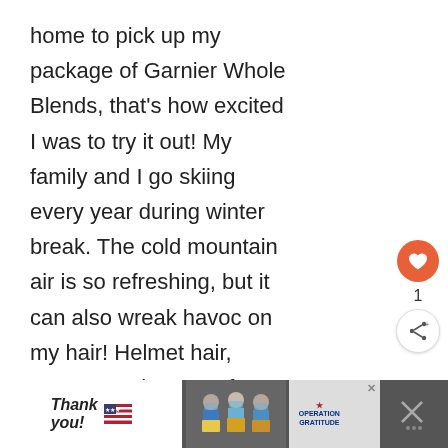home to pick up my package of Garnier Whole Blends, that's how excited I was to try it out! My family and I go skiing every year during winter break. The cold mountain air is so refreshing, but it can also wreak havoc on my hair! Helmet hair, anyone? What a perfect opportunity to try out Garnier Whole Blends.
[Figure (screenshot): Ad banner at bottom of page showing 'Thank you!' handwritten text with US flag motif, nurses holding packages, and Operation Gratitude logo with a close button]